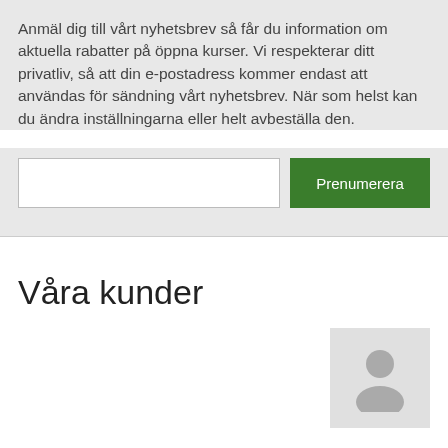Anmäl dig till vårt nyhetsbrev så får du information om aktuella rabatter på öppna kurser. Vi respekterar ditt privatliv, så att din e-postadress kommer endast att användas för sändning vårt nyhetsbrev. När som helst kan du ändra inställningarna eller helt avbeställa den.
[Figure (screenshot): Email subscription form with a text input field and a green 'Prenumerera' (Subscribe) button]
Våra kunder
[Figure (illustration): Generic grey avatar/person placeholder icon on a light grey background]